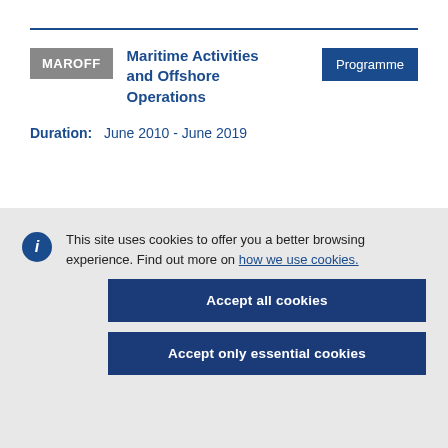Maritime Activities and Offshore Operations
MAROFF
Programme
Duration: June 2010 - June 2019
This site uses cookies to offer you a better browsing experience. Find out more on how we use cookies.
Accept all cookies
Accept only essential cookies